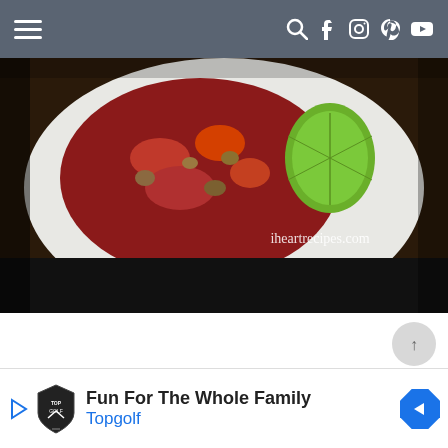Navigation bar with hamburger menu and social icons (search, facebook, instagram, pinterest, youtube)
[Figure (photo): Food photo showing a bowl of chili/stew with tomatoes and a lime wedge garnish, with watermark text 'iheartrecipes.com' overlaid. Bottom portion of image is black.]
[Figure (other): Scroll-to-top button (circular light gray button with upward arrow indicator, number 1)]
[Figure (other): Advertisement banner for Topgolf: 'Fun For The Whole Family' with Topgolf logo and blue navigation arrow icon]